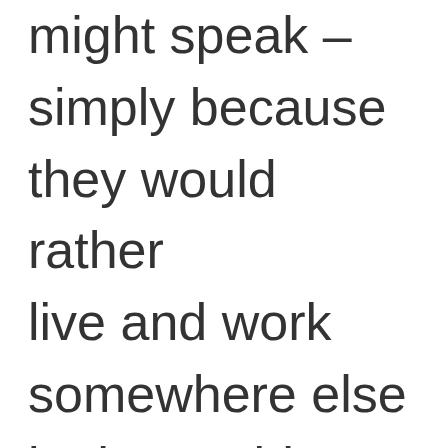might speak – simply because they would rather live and work somewhere else in the world because they can